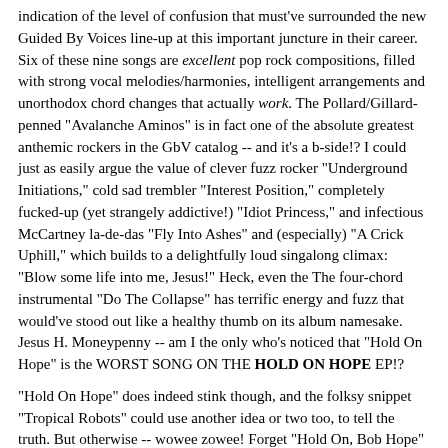indication of the level of confusion that must've surrounded the new Guided By Voices line-up at this important juncture in their career. Six of these nine songs are excellent pop rock compositions, filled with strong vocal melodies/harmonies, intelligent arrangements and unorthodox chord changes that actually work. The Pollard/Gillard-penned "Avalanche Aminos" is in fact one of the absolute greatest anthemic rockers in the GbV catalog -- and it's a b-side!? I could just as easily argue the value of clever fuzz rocker "Underground Initiations," cold sad trembler "Interest Position," completely fucked-up (yet strangely addictive!) "Idiot Princess," and infectious McCartney la-de-das "Fly Into Ashes" and (especially) "A Crick Uphill," which builds to a delightfully loud singalong climax: "Blow some life into me, Jesus!" Heck, even the The four-chord instrumental "Do The Collapse" has terrific energy and fuzz that would've stood out like a healthy thumb on its album namesake. Jesus H. Moneypenny -- am I the only who's noticed that "Hold On Hope" is the WORST SONG ON THE HOLD ON HOPE EP!?
"Hold On Hope" does indeed stink though, and the folksy snippet "Tropical Robots" could use another idea or two too, to tell the truth. But otherwise -- wowee zowee! Forget "Hold On, Bob Hope" and check out all these OTHER great tunes!
I totally wrote "two," "too" and "to" next to each other on purpose in that last paragraph. I am the Diction Queen!